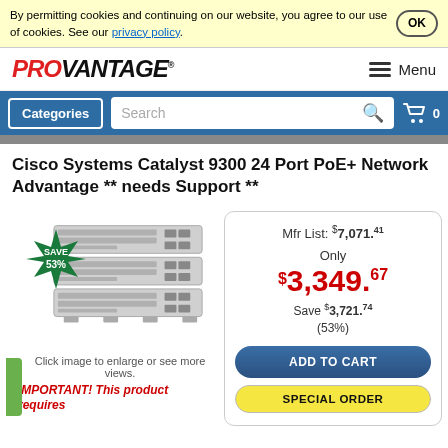By permitting cookies and continuing on our website, you agree to our use of cookies. See our privacy policy.
[Figure (logo): PROVANTAGE logo in red and black italic text]
Menu
Categories
Search
0
Cisco Systems Catalyst 9300 24 Port PoE+ Network Advantage ** needs Support **
[Figure (photo): Cisco Catalyst 9300 network switch product image with SAVE 53% starburst badge]
Click image to enlarge or see more views.
IMPORTANT! This product requires
Mfr List: $7,071.41
Only
$3,349.67
Save $3,721.74 (53%)
ADD TO CART
SPECIAL ORDER